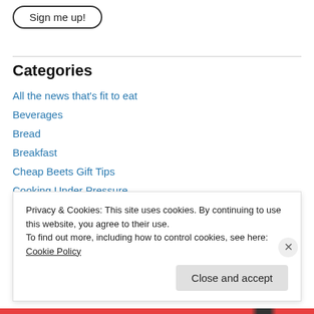[Figure (other): Sign me up! button with rounded border]
Categories
All the news that's fit to eat
Beverages
Bread
Breakfast
Cheap Beets Gift Tips
Cooking Under Pressure
Dairy
Desserts
Privacy & Cookies: This site uses cookies. By continuing to use this website, you agree to their use.
To find out more, including how to control cookies, see here: Cookie Policy
Close and accept